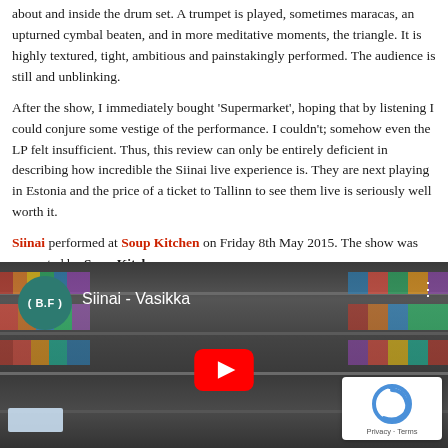about and inside the drum set. A trumpet is played, sometimes maracas, an upturned cymbal beaten, and in more meditative moments, the triangle. It is highly textured, tight, ambitious and painstakingly performed. The audience is still and unblinking.
After the show, I immediately bought 'Supermarket', hoping that by listening I could conjure some vestige of the performance. I couldn't; somehow even the LP felt insufficient. Thus, this review can only be entirely deficient in describing how incredible the Siinai live experience is. They are next playing in Estonia and the price of a ticket to Tallinn to see them live is seriously well worth it.
Siinai performed at Soup Kitchen on Friday 8th May 2015. The show was promoted by Soup Kitchen.
[Figure (screenshot): YouTube video embed showing Siinai - Vasikka with YouTube play button overlay, BF channel badge, and reCAPTCHA Privacy-Terms overlay in bottom right corner. The video thumbnail shows a person in a supermarket aisle with shelves of products.]